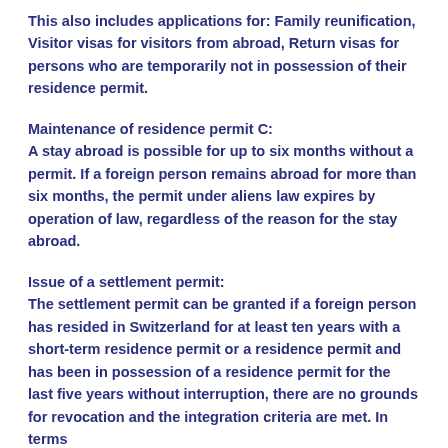This also includes applications for: Family reunification, Visitor visas for visitors from abroad, Return visas for persons who are temporarily not in possession of their residence permit.
Maintenance of residence permit C:
A stay abroad is possible for up to six months without a permit. If a foreign person remains abroad for more than six months, the permit under aliens law expires by operation of law, regardless of the reason for the stay abroad.
Issue of a settlement permit:
The settlement permit can be granted if a foreign person has resided in Switzerland for at least ten years with a short-term residence permit or a residence permit and has been in possession of a residence permit for the last five years without interruption, there are no grounds for revocation and the integration criteria are met. In terms